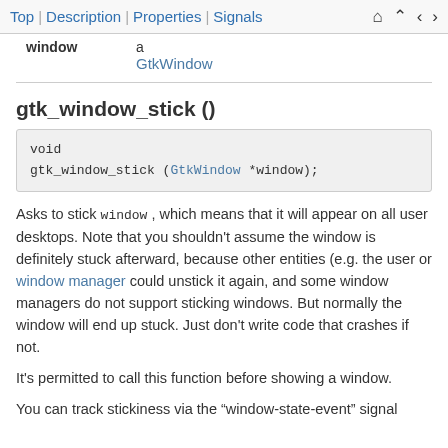Top | Description | Properties | Signals
window   a
   GtkWindow
gtk_window_stick ()
void
gtk_window_stick (GtkWindow *window);
Asks to stick window , which means that it will appear on all user desktops. Note that you shouldn't assume the window is definitely stuck afterward, because other entities (e.g. the user or window manager could unstick it again, and some window managers do not support sticking windows. But normally the window will end up stuck. Just don't write code that crashes if not.
It's permitted to call this function before showing a window.
You can track stickiness via the “window-state-event” signal